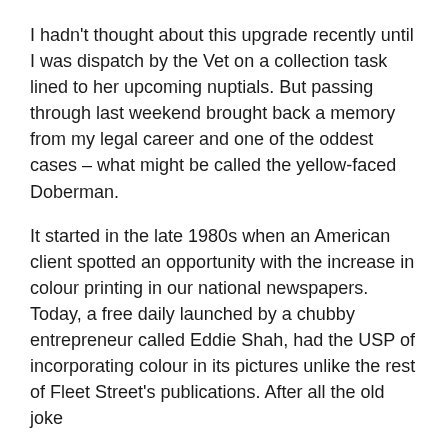I hadn't thought about this upgrade recently until I was dispatch by the Vet on a collection task lined to her upcoming nuptials. But passing through last weekend brought back a memory from my legal career and one of the oddest cases – what might be called the yellow-faced Doberman.
It started in the late 1980s when an American client spotted an opportunity with the increase in colour printing in our national newspapers. Today, a free daily launched by a chubby entrepreneur called Eddie Shah, had the USP of incorporating colour in its pictures unlike the rest of Fleet Street's publications. After all the old joke
what's black and white and red all over?
a newspaper!